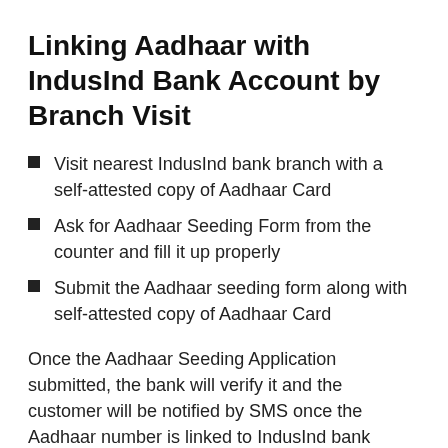Linking Aadhaar with IndusInd Bank Account by Branch Visit
Visit nearest IndusInd bank branch with a self-attested copy of Aadhaar Card
Ask for Aadhaar Seeding Form from the counter and fill it up properly
Submit the Aadhaar seeding form along with self-attested copy of Aadhaar Card
Once the Aadhaar Seeding Application submitted, the bank will verify it and the customer will be notified by SMS once the Aadhaar number is linked to IndusInd bank account.
Visit here to know the linking procedure of Aadhaar with any Bank's Account.